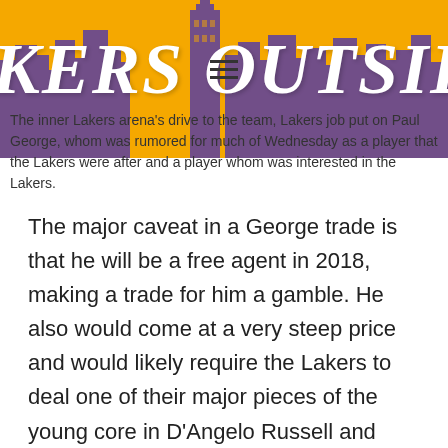[Figure (logo): Lakers Outside blog header banner with gold/yellow background, purple city skyline silhouette, and large white italic bold text reading 'KERS OUTSIDE' with a hamburger menu icon overlay]
The inner Lakers arena's drive to the team, Lakers job put on Paul George, whom was rumored for much of Wednesday as a player that the Lakers were after and a player whom was interested in the Lakers.
The major caveat in a George trade is that he will be a free agent in 2018, making a trade for him a gamble. He also would come at a very steep price and would likely require the Lakers to deal one of their major pieces of the young core in D'Angelo Russell and Brandon Ingram.